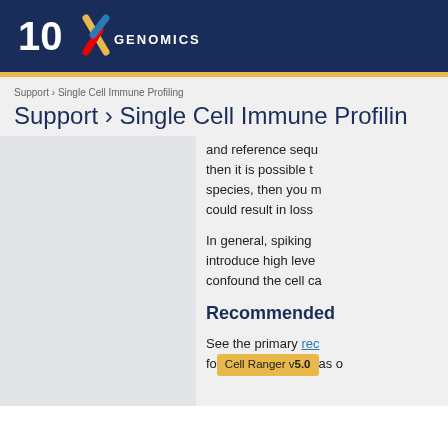[Figure (logo): 10x Genomics logo on dark navy blue header bar]
Support › Single Cell Immune Profiling
and reference sequence then it is possible t species, then you m could result in loss
In general, spiking introduce high leve confound the cell ca
Recommended
See the primary rec for as o
Cell Ranger v5.0